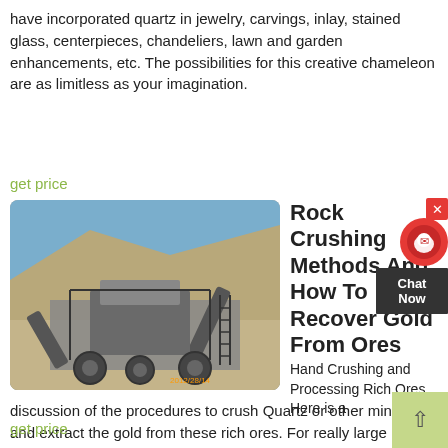have incorporated quartz in jewelry, carvings, inlay, stained glass, centerpieces, chandeliers, lawn and garden enhancements, etc. The possibilities for this creative chameleon are as limitless as your imagination.
get price
[Figure (photo): Industrial rock crushing machinery at a mining site with conveyor belts against a hillside backdrop. Timestamp: 2012/28/14]
Rock Crushing Methods And How To Recover Gold From Ores
Hand Crushing and Processing Rich Ores. Here is a discussion of the procedures to crush Quartz or other minerals and extract the gold from these rich ores. For really large chunks of material, it may be necessary to initially break down the large pieces with hammers. Sometimes heavy-duty chisels can also come in handy in this part of the
get price